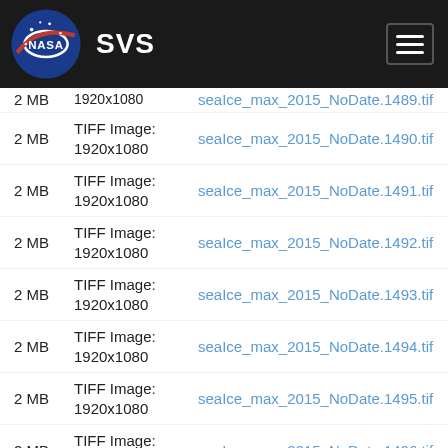[Figure (logo): NASA SVS website header with NASA logo and SVS text on dark background with hamburger menu]
2 MB  TIFF Image: 1920x1080  seaIce_max_2015_NoDate.1489.tif
2 MB  TIFF Image: 1920x1080  seaIce_max_2015_NoDate.1490.tif
2 MB  TIFF Image: 1920x1080  seaIce_max_2015_NoDate.1491.tif
2 MB  TIFF Image: 1920x1080  seaIce_max_2015_NoDate.1492.tif
2 MB  TIFF Image: 1920x1080  seaIce_max_2015_NoDate.1493.tif
2 MB  TIFF Image: 1920x1080  seaIce_max_2015_NoDate.1494.tif
2 MB  TIFF Image: 1920x1080  seaIce_max_2015_NoDate.1495.tif
2 MB  TIFF Image: 1920x1080  seaIce_max_2015_NoDate.1496.tif
2 MB  TIFF Image: 1920x1080  seaIce_max_2015_NoDate.1497.tif
2 MB  TIFF Image: 1920x1080  seaIce_max_2015_NoDate.1498.tif